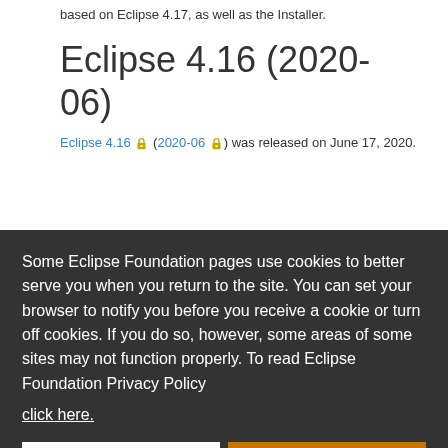based on Eclipse 4.17, as well as the Installer.
Eclipse 4.16 (2020-06)
Eclipse 4.16 🔒 (2020-06 🔒) was released on June 17, 2020.
Some Eclipse Foundation pages use cookies to better serve you when you return to the site. You can set your browser to notify you before you receive a cookie or turn off cookies. If you do so, however, some areas of some sites may not function properly. To read Eclipse Foundation Privacy Policy
click here.
Decline
Allow cookies
Eclipse 4.14 (2019-12 🔒) was released on December